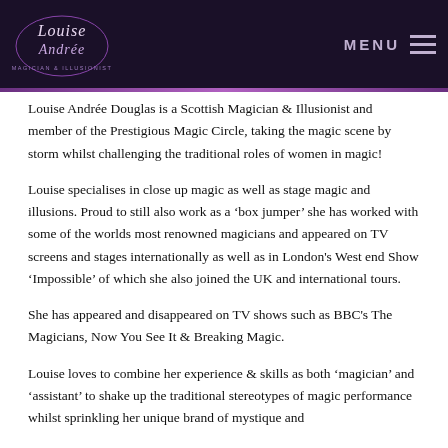Louise Andrée — Magician & Illusionist (logo and MENU navigation)
Louise Andrée Douglas is a Scottish Magician & Illusionist and member of the Prestigious Magic Circle, taking the magic scene by storm whilst challenging the traditional roles of women in magic!
Louise specialises in close up magic as well as stage magic and illusions. Proud to still also work as a 'box jumper' she has worked with some of the worlds most renowned magicians and appeared on TV screens and stages internationally as well as in London's West end Show 'Impossible' of which she also joined the UK and international tours.
She has appeared and disappeared on TV shows such as BBC's The Magicians, Now You See It & Breaking Magic.
Louise loves to combine her experience & skills as both 'magician' and 'assistant' to shake up the traditional stereotypes of magic performance whilst sprinkling her unique brand of mystique and